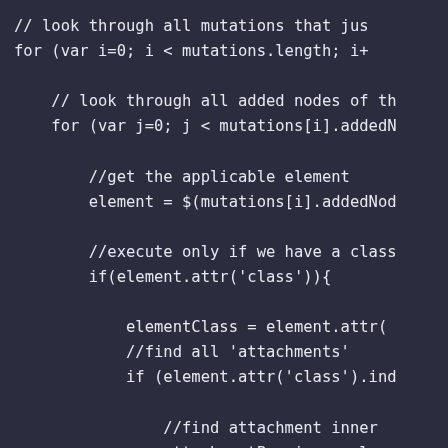// look through all mutations that jus
for (var i=0; i < mutations.length; i+

    // look through all added nodes of th
    for (var j=0; j < mutations[i].addedN

        //get the applicable element
        element = $(mutations[i].addedNod

        //execute only if we have a class
        if(element.attr('class')){

            elementClass = element.attr(
            //find all 'attachments'
            if (element.attr('class').ind

                //find attachment inner
                attachmentPreview = elem
                if(attachmentPreview.len